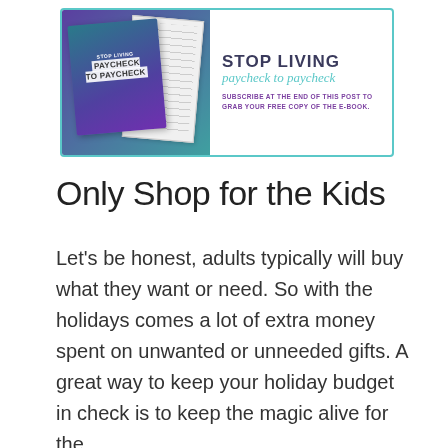[Figure (infographic): Advertisement banner for 'Stop Living Paycheck to Paycheck' e-book with teal border, showing book cover on the left side and text on the right: 'STOP LIVING paycheck to paycheck' with subscription call to action.]
Only Shop for the Kids
Let's be honest, adults typically will buy what they want or need. So with the holidays comes a lot of extra money spent on unwanted or unneeded gifts. A great way to keep your holiday budget in check is to keep the magic alive for the